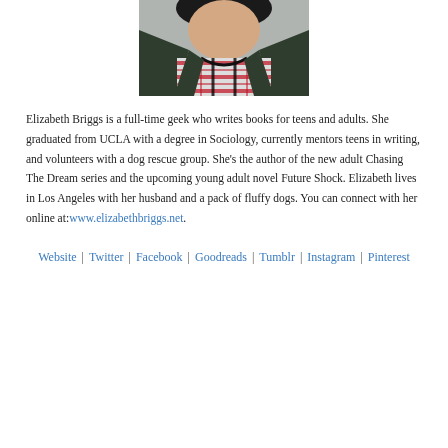[Figure (photo): Author photo of Elizabeth Briggs, a young woman with dark hair wearing a red plaid top and dark leather jacket]
Elizabeth Briggs is a full-time geek who writes books for teens and adults. She graduated from UCLA with a degree in Sociology, currently mentors teens in writing, and volunteers with a dog rescue group. She's the author of the new adult Chasing The Dream series and the upcoming young adult novel Future Shock. Elizabeth lives in Los Angeles with her husband and a pack of fluffy dogs. You can connect with her online at:www.elizabethbriggs.net.
Website | Twitter | Facebook | Goodreads | Tumblr | Instagram | Pinterest